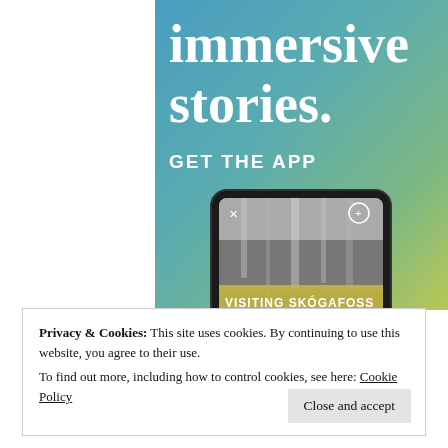[Figure (screenshot): App advertisement banner with gradient background (blue to yellow-green). Large white serif text reads 'immersive stories.' with 'GET THE APP' below. A phone/tablet mockup shows a waterfall image with yellow banner reading 'VISITING SKÓGAFOSS'.]
Privacy & Cookies: This site uses cookies. By continuing to use this website, you agree to their use.
To find out more, including how to control cookies, see here: Cookie Policy
Close and accept